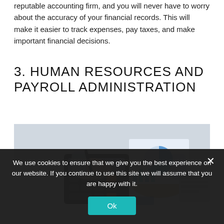reputable accounting firm, and you will never have to worry about the accuracy of your financial records. This will make it easier to track expenses, pay taxes, and make important financial decisions.
3. HUMAN RESOURCES AND PAYROLL ADMINISTRATION
[Figure (photo): Person using a calculator with a pen in hand, financial charts and a keyboard visible on the desk in the background]
We use cookies to ensure that we give you the best experience on our website. If you continue to use this site we will assume that you are happy with it.